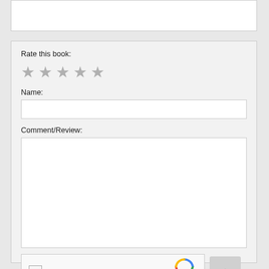[Figure (screenshot): Top white input box (partially visible, cropped at top of page)]
Rate this book:
[Figure (other): Five grey star rating icons]
Name:
[Figure (screenshot): Name text input field (empty)]
Comment/Review:
[Figure (screenshot): Comment/Review textarea (empty)]
[Figure (other): reCAPTCHA widget with checkbox and 'I'm not a robot' text, plus scroll-to-top button]